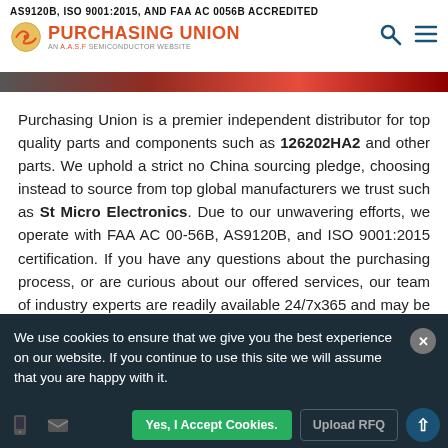AS9120B, ISO 9001:2015, AND FAA AC 0056B ACCREDITED
[Figure (logo): Purchasing Union logo - AN A.A.S.F SEMICONDUCTOR WEBSITE with circular icon]
Purchasing Union is a premier independent distributor for top quality parts and components such as 126202HA2 and other parts. We uphold a strict no China sourcing pledge, choosing instead to source from top global manufacturers we trust such as St Micro Electronics. Due to our unwavering efforts, we operate with FAA AC 00-56B, AS9120B, and ISO 9001:2015 certification. If you have any questions about the purchasing process, or are curious about our offered services, our team of industry experts are readily available 24/7x365 and may be reached by phone or email. Get started today and experience how we are revolutionizing the parts procurement process.
We use cookies to ensure that we give you the best experience on our website. If you continue to use this site we will assume that you are happy with it.